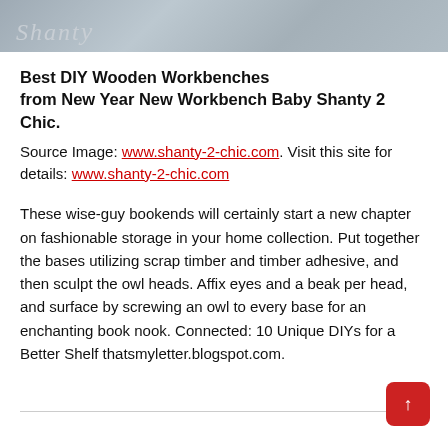[Figure (photo): Partial image at top of page showing a decorative/logo area with script-style text partially visible, light grey textured background]
Best DIY Wooden Workbenches from New Year New Workbench Baby Shanty 2 Chic.
Source Image: www.shanty-2-chic.com. Visit this site for details: www.shanty-2-chic.com
These wise-guy bookends will certainly start a new chapter on fashionable storage in your home collection. Put together the bases utilizing scrap timber and timber adhesive, and then sculpt the owl heads. Affix eyes and a beak per head, and surface by screwing an owl to every base for an enchanting book nook. Connected: 10 Unique DIYs for a Better Shelf thatsmyletter.blogspot.com.